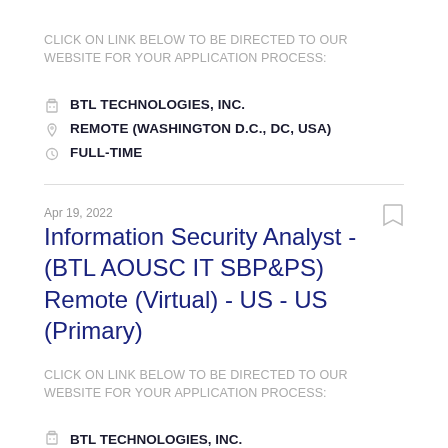CLICK ON LINK BELOW TO BE DIRECTED TO OUR WEBSITE FOR YOUR APPLICATION PROCESS:
BTL TECHNOLOGIES, INC.
REMOTE (WASHINGTON D.C., DC, USA)
FULL-TIME
Apr 19, 2022
Information Security Analyst - (BTL AOUSC IT SBP&PS) Remote (Virtual) - US - US (Primary)
CLICK ON LINK BELOW TO BE DIRECTED TO OUR WEBSITE FOR YOUR APPLICATION PROCESS:
BTL TECHNOLOGIES, INC.